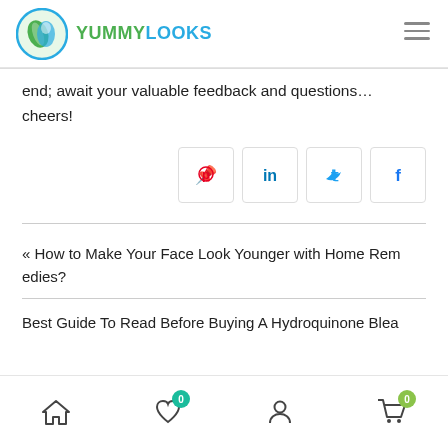YUMMYLOOKS
end; await your valuable feedback and questions… cheers!
[Figure (other): Social share buttons: Pinterest, LinkedIn, Twitter, Facebook]
« How to Make Your Face Look Younger with Home Remedies?
Best Guide To Read Before Buying A Hydroquinone Blea
Bottom navigation bar with home, wishlist (0), account, cart (0) icons